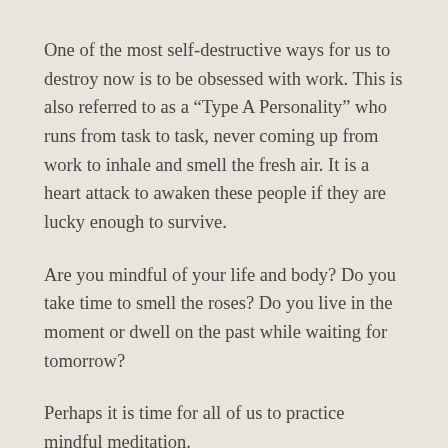One of the most self-destructive ways for us to destroy now is to be obsessed with work. This is also referred to as a “Type A Personality” who runs from task to task, never coming up from work to inhale and smell the fresh air. It is a heart attack to awaken these people if they are lucky enough to survive.
Are you mindful of your life and body? Do you take time to smell the roses? Do you live in the moment or dwell on the past while waiting for tomorrow?
Perhaps it is time for all of us to practice mindful meditation.